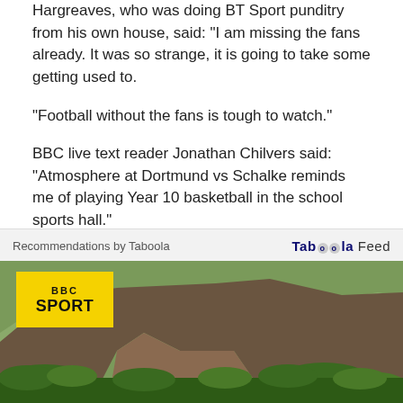Hargreaves, who was doing BT Sport punditry from his own house, said: "I am missing the fans already. It was so strange, it is going to take some getting used to.
"Football without the fans is tough to watch."
BBC live text reader Jonathan Chilvers said: "Atmosphere at Dortmund vs Schalke reminds me of playing Year 10 basketball in the school sports hall."
Marty Waddell tweeted: "Nope. Sorry. As much as I love and miss football, that just wasn't right. And i still miss it just as much (if not more)."
[Figure (other): Taboola Feed advertisement box with BBC Sport logo overlay on a landscape/nature image showing cliffs and green forest]